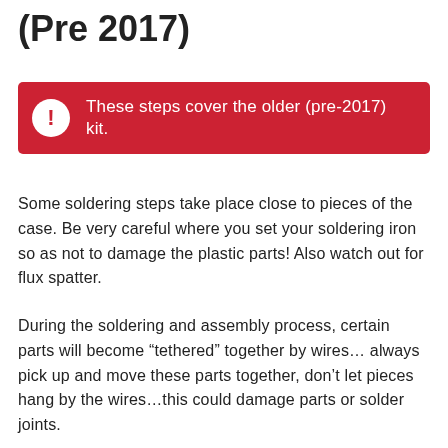(Pre 2017)
These steps cover the older (pre-2017) kit.
Some soldering steps take place close to pieces of the case. Be very careful where you set your soldering iron so as not to damage the plastic parts! Also watch out for flux spatter.
During the soldering and assembly process, certain parts will become “tethered” together by wires… always pick up and move these parts together, don’t let pieces hang by the wires…this could damage parts or solder joints.